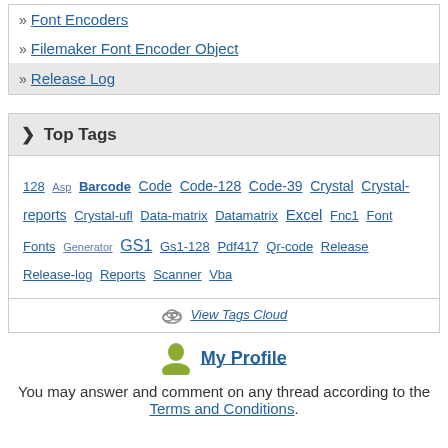» Font Encoders
» Filemaker Font Encoder Object
» Release Log
❯ Top Tags
128 Asp Barcode Code Code-128 Code-39 Crystal Crystal-reports Crystal-ufl Data-matrix Datamatrix Excel Fnc1 Font Fonts Generator GS1 Gs1-128 Pdf417 Qr-code Release Release-log Reports Scanner Vba
View Tags Cloud
My Profile
You may answer and comment on any thread according to the Terms and Conditions.